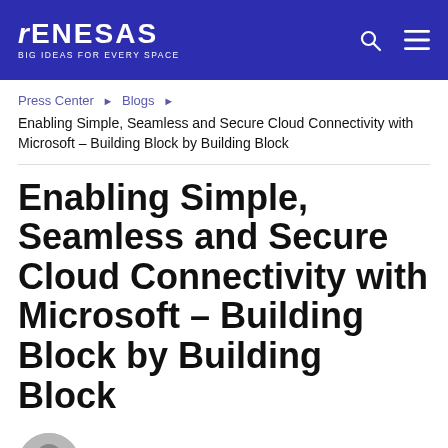RENESAS — BIG IDEAS FOR EVERY SPACE
Press Center › Blogs ›
Enabling Simple, Seamless and Secure Cloud Connectivity with Microsoft – Building Block by Building Block
Enabling Simple, Seamless and Secure Cloud Connectivity with Microsoft – Building Block by Building Block
Roger Wendelken